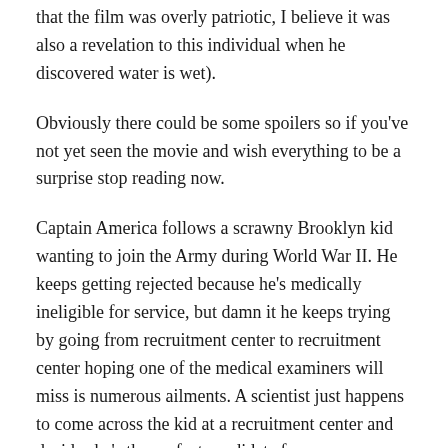that the film was overly patriotic, I believe it was also a revelation to this individual when he discovered water is wet).
Obviously there could be some spoilers so if you've not yet seen the movie and wish everything to be a surprise stop reading now.
Captain America follows a scrawny Brooklyn kid wanting to join the Army during World War II. He keeps getting rejected because he's medically ineligible for service, but damn it he keeps trying by going from recruitment center to recruitment center hoping one of the medical examiners will miss is numerous ailments. A scientist just happens to come across the kid at a recruitment center and decides he's the perfect candidate for an experiment.